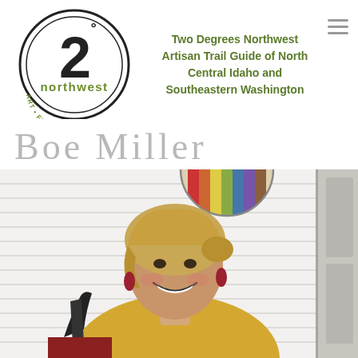[Figure (logo): Two Degrees Northwest logo — circular logo with '2°' in large text, 'northwest' below, and 'ART • FOOD • HERITAGE' around the bottom arc]
Two Degrees Northwest Artisan Trail Guide of North Central Idaho and Southeastern Washington
Boe Miller
[Figure (photo): Portrait photo of a smiling woman with blonde hair pulled back, wearing a yellow top and red earrings, seated outdoors in front of white horizontal siding. A colorful circular piece of art is visible on the wall behind her.]